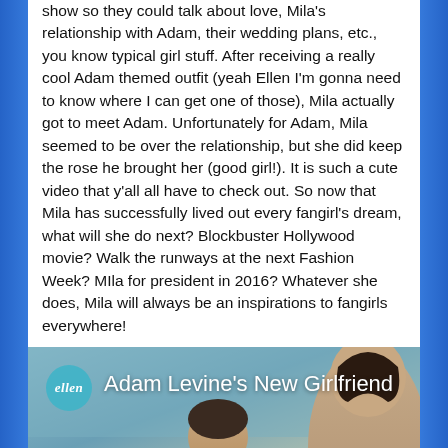show so they could talk about love, Mila's relationship with Adam, their wedding plans, etc., you know typical girl stuff. After receiving a really cool Adam themed outfit (yeah Ellen I'm gonna need to know where I can get one of those), Mila actually got to meet Adam. Unfortunately for Adam, Mila seemed to be over the relationship, but she did keep the rose he brought her (good girl!). It is such a cute video that y'all all have to check out. So now that Mila has successfully lived out every fangirl's dream, what will she do next? Blockbuster Hollywood movie? Walk the runways at the next Fashion Week? MIla for president in 2016? Whatever she does, Mila will always be an inspirations to fangirls everywhere!
[Figure (screenshot): Video thumbnail from The Ellen DeGeneres Show featuring the 'ellen' logo badge and text 'Adam Levine's New Girlfriend' with two people visible in the lower portion of the frame]